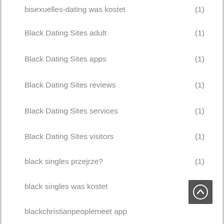bisexuelles-dating was kostet (1)
Black Dating Sites adult (1)
Black Dating Sites apps (1)
Black Dating Sites reviews (1)
Black Dating Sites services (1)
Black Dating Sites visitors (1)
black singles przejrze? (1)
black singles was kostet (1)
blackchristianpeoplemeet app
blackchristianpeoplemeet app (1)